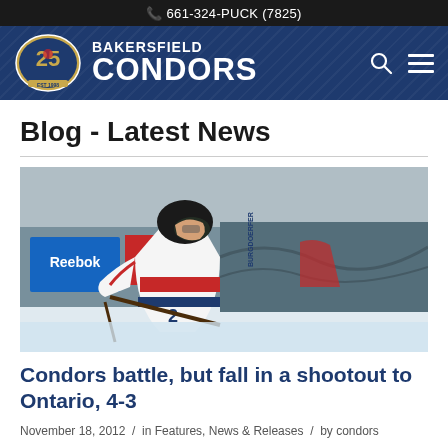661-324-PUCK (7825)
[Figure (logo): Bakersfield Condors 25th anniversary logo with team branding on dark blue header banner]
Blog - Latest News
[Figure (photo): Hockey player wearing Bakersfield Condors jersey with BURGDOERFER on the back, skating on ice during a game]
Condors battle, but fall in a shootout to Ontario, 4-3
November 18, 2012 / in Features, News & Releases / by condors